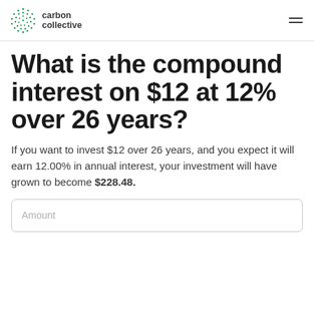carbon collective
What is the compound interest on $12 at 12% over 26 years?
If you want to invest $12 over 26 years, and you expect it will earn 12.00% in annual interest, your investment will have grown to become $228.48.